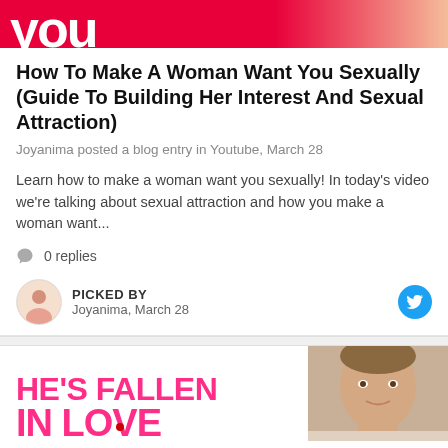[Figure (photo): Partial banner image with red background showing 'YOU' text and a person]
How To Make A Woman Want You Sexually (Guide To Building Her Interest And Sexual Attraction)
Joyanima posted a blog entry in Youtube, March 28
Learn how to make a woman want you sexually! In today's video we're talking about sexual attraction and how you make a woman want...
0 replies
PICKED BY
Joyanima, March 28
[Figure (photo): Partial bottom banner with text 'HE'S FALLEN IN LOVE' in pink and a man's face]